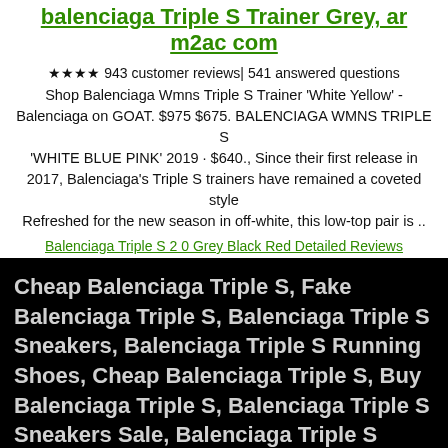balenciaga Triple S Trainer Grey, ar m2ac com
★★★★ 943 customer reviews| 541 answered questions Shop Balenciaga Wmns Triple S Trainer 'White Yellow' - Balenciaga on GOAT. $975 $675. BALENCIAGA WMNS TRIPLE S 'WHITE BLUE PINK' 2019 · $640., Since their first release in 2017, Balenciaga's Triple S trainers have remained a coveted style Refreshed for the new season in off-white, this low-top pair is ..
Balenciaga Triple S 2 0 Grey Black Red Detailed Reviews
Cheap Balenciaga Triple S, Fake Balenciaga Triple S, Balenciaga Triple S Sneakers, Balenciaga Triple S Running Shoes, Cheap Balenciaga Triple S, Buy Balenciaga Triple S, Balenciaga Triple S Sneakers Sale, Balenciaga Triple S Outlet, Triple S Running Shoes Online.